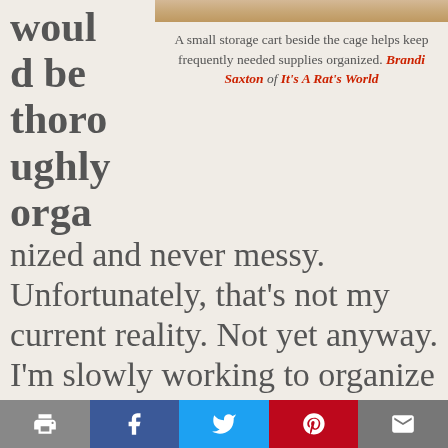[Figure (photo): Partial view of a photo at top right showing storage area near a rat cage]
A small storage cart beside the cage helps keep frequently needed supplies organized. Brandi Saxton of It's A Rat's World
would be thoroughly organized and never messy. Unfortunately, that's not my current reality. Not yet anyway. I'm slowly working to organize every room in my house, including our utility/rat room. I already have tons of ideas for turning it into a picturesque place of functional storage, but until I have more time and money to make all my dreams come true, I started with the most attainable ideas first.
[Figure (infographic): Social sharing bar with print, Facebook, Twitter, Pinterest, and email buttons]